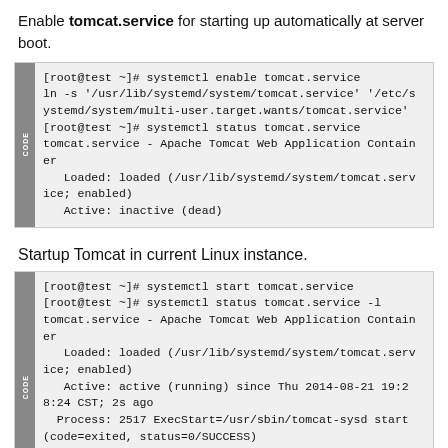Enable tomcat.service for starting up automatically at server boot.
[root@test ~]# systemctl enable tomcat.service
ln -s '/usr/lib/systemd/system/tomcat.service' '/etc/systemd/system/multi-user.target.wants/tomcat.service'
[root@test ~]# systemctl status tomcat.service
tomcat.service - Apache Tomcat Web Application Container
   Loaded: loaded (/usr/lib/systemd/system/tomcat.service; enabled)
   Active: inactive (dead)
Startup Tomcat in current Linux instance.
[root@test ~]# systemctl start tomcat.service
[root@test ~]# systemctl status tomcat.service -l
tomcat.service - Apache Tomcat Web Application Container
   Loaded: loaded (/usr/lib/systemd/system/tomcat.service; enabled)
   Active: active (running) since Thu 2014-08-21 19:28:24 CST; 2s ago
  Process: 2517 ExecStart=/usr/sbin/tomcat-sysd start (code=exited, status=0/SUCCESS)
 Main PID: 2535 (java)
   CGroup: /system.slice/tomcat.service
           ?0?2535 java -classpath /usr/share/tomcat/b